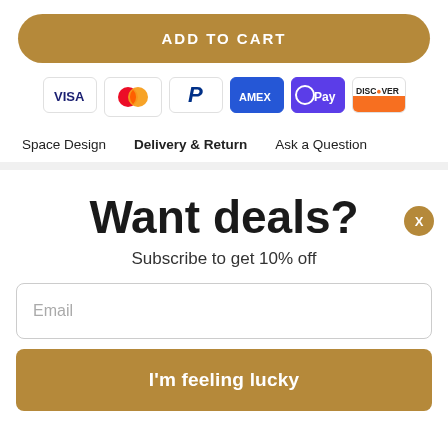ADD TO CART
[Figure (other): Payment method icons: VISA, Mastercard, PayPal, AMEX, GPay/OPay, Discover]
Space Design   Delivery & Return   Ask a Question
Want deals?
Subscribe to get 10% off
Email
I'm feeling lucky